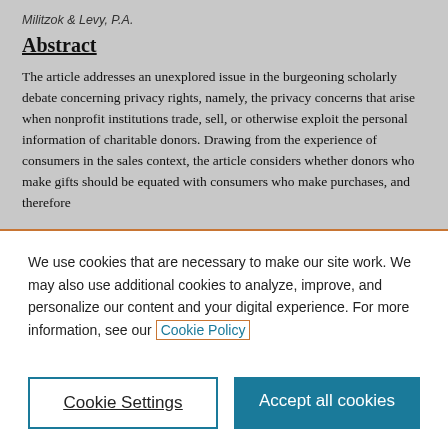Militzok & Levy, P.A.
Abstract
The article addresses an unexplored issue in the burgeoning scholarly debate concerning privacy rights, namely, the privacy concerns that arise when nonprofit institutions trade, sell, or otherwise exploit the personal information of charitable donors. Drawing from the experience of consumers in the sales context, the article considers whether donors who make gifts should be equated with consumers who make purchases, and therefore
We use cookies that are necessary to make our site work. We may also use additional cookies to analyze, improve, and personalize our content and your digital experience. For more information, see our Cookie Policy
Cookie Settings
Accept all cookies